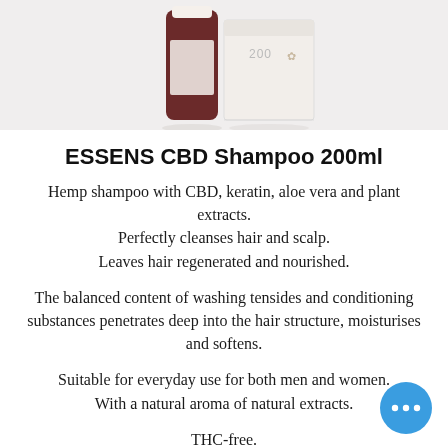[Figure (photo): Product photo of ESSENS CBD Shampoo 200ml dark bottle and white box packaging on light background]
ESSENS CBD Shampoo 200ml
Hemp shampoo with CBD, keratin, aloe vera and plant extracts. Perfectly cleanses hair and scalp. Leaves hair regenerated and nourished.
The balanced content of washing tensides and conditioning substances penetrates deep into the hair structure, moisturises and softens.
Suitable for everyday use for both men and women. With a natural aroma of natural extracts.
THC-free. Vegan product without parabens.